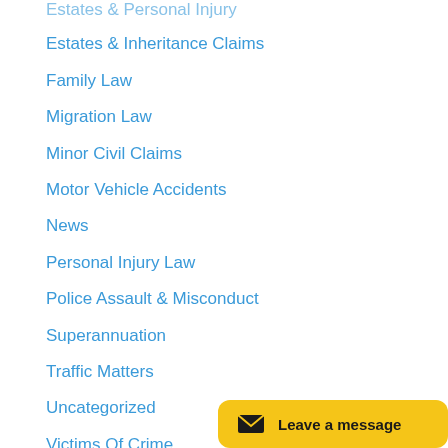Estates & Inheritance Claims
Family Law
Migration Law
Minor Civil Claims
Motor Vehicle Accidents
News
Personal Injury Law
Police Assault & Misconduct
Superannuation
Traffic Matters
Uncategorized
Victims Of Crime
Wills & Power Of Attorney
Workers Compensation
[Figure (other): Yellow rounded button with envelope icon and text 'Leave a message']